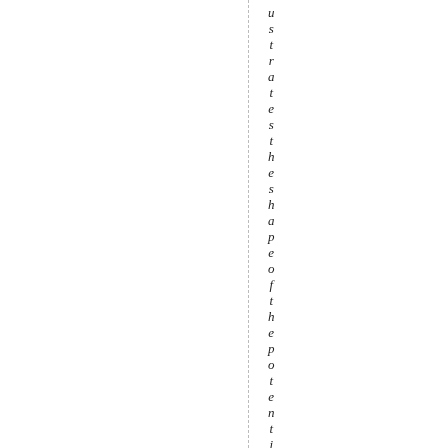ustratestheshapeofthepotential